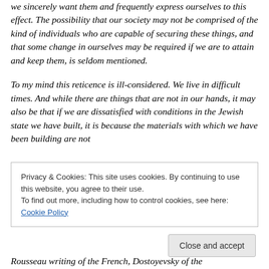we sincerely want them and frequently express ourselves to this effect. The possibility that our society may not be comprised of the kind of individuals who are capable of securing these things, and that some change in ourselves may be required if we are to attain and keep them, is seldom mentioned.
To my mind this reticence is ill-considered. We live in difficult times. And while there are things that are not in our hands, it may also be that if we are dissatisfied with conditions in the Jewish state we have built, it is because the materials with which we have been building are not
Privacy & Cookies: This site uses cookies. By continuing to use this website, you agree to their use. To find out more, including how to control cookies, see here: Cookie Policy
Close and accept
Rousseau writing of the French, Dostoyevsky of the